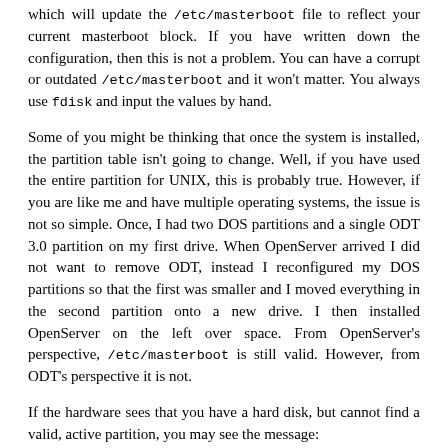which will update the /etc/masterboot file to reflect your current masterboot block. If you have written down the configuration, then this is not a problem. You can have a corrupt or outdated /etc/masterboot and it won't matter. You always use fdisk and input the values by hand.
Some of you might be thinking that once the system is installed, the partition table isn't going to change. Well, if you have used the entire partition for UNIX, this is probably true. However, if you are like me and have multiple operating systems, the issue is not so simple. Once, I had two DOS partitions and a single ODT 3.0 partition on my first drive. When OpenServer arrived I did not want to remove ODT, instead I reconfigured my DOS partitions so that the first was smaller and I moved everything in the second partition onto a new drive. I then installed OpenServer on the left over space. From OpenServer's perspective, /etc/masterboot is still valid. However, from ODT's perspective it is not.
If the hardware sees that you have a hard disk, but cannot find a valid, active partition, you may see the message:
NO OS
This message is the result of either a corrupt